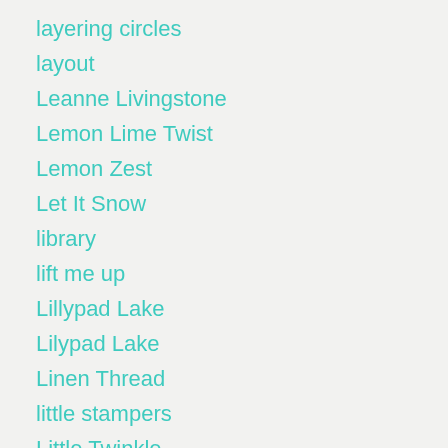layering circles
layout
Leanne Livingstone
Lemon Lime Twist
Lemon Zest
Let It Snow
library
lift me up
Lillypad Lake
Lilypad Lake
Linen Thread
little stampers
Little Twinkle